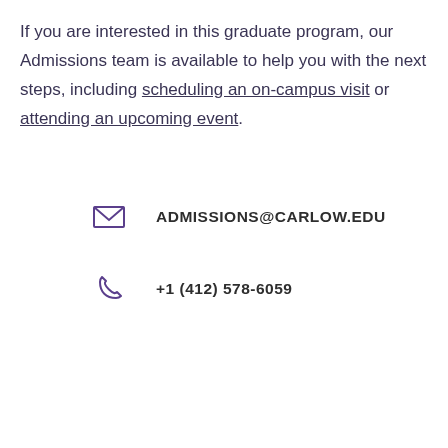If you are interested in this graduate program, our Admissions team is available to help you with the next steps, including scheduling an on-campus visit or attending an upcoming event.
ADMISSIONS@CARLOW.EDU
+1 (412) 578-6059